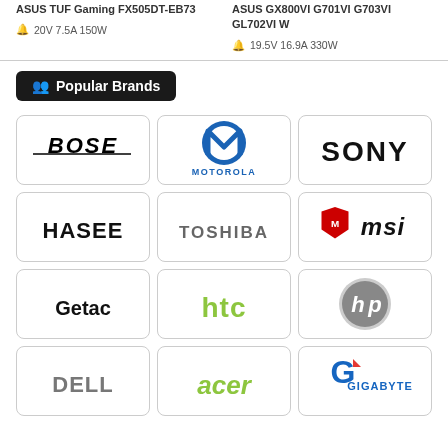ASUS TUF Gaming FX505DT-EB73
20V 7.5A 150W
ASUS GX800VI G701VI G703VI GL702VI W
19.5V 16.9A 330W
Popular Brands
[Figure (logo): Bose logo]
[Figure (logo): Motorola logo]
[Figure (logo): Sony logo]
[Figure (logo): Hasee logo]
[Figure (logo): Toshiba logo]
[Figure (logo): MSI logo]
[Figure (logo): Getac logo]
[Figure (logo): HTC logo]
[Figure (logo): HP logo]
[Figure (logo): Dell logo]
[Figure (logo): Acer logo]
[Figure (logo): Gigabyte logo]